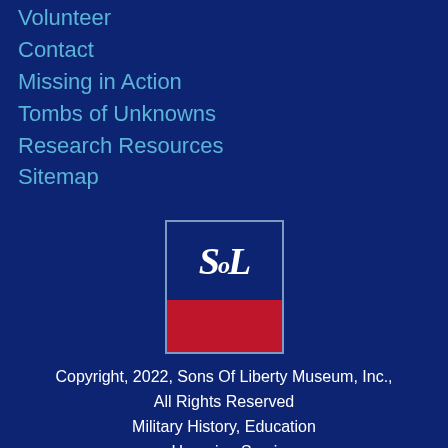Volunteer
Contact
Missing in Action
Tombs of Unknowns
Research Resources
Sitemap
[Figure (logo): Sons of Liberty Museum logo — a square divided into blue top half with cursive 'SoL' monogram in white, and red bottom half]
Copyright, 2022, Sons Of Liberty Museum, Inc., All Rights Reserved
Military History, Education ... Honoring Service